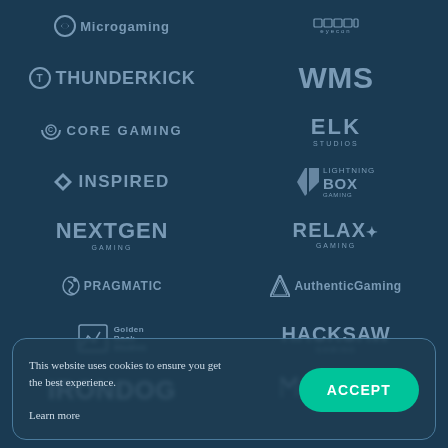[Figure (logo): Microgaming logo (top left, partial)]
[Figure (logo): Eyecon logo (top right, partial)]
[Figure (logo): Thunderkick logo]
[Figure (logo): WMS logo]
[Figure (logo): Core Gaming logo]
[Figure (logo): ELK Studios logo]
[Figure (logo): Inspired logo]
[Figure (logo): Lightning Box Gaming logo]
[Figure (logo): NextGen Gaming logo]
[Figure (logo): Relax Gaming logo]
[Figure (logo): Pragmatic Play logo]
[Figure (logo): Authentic Gaming logo]
[Figure (logo): Golden Rock Studios logo]
[Figure (logo): Hacksaw Gaming logo]
[Figure (logo): Iron Dog logo (partial)]
[Figure (logo): Kalamba Games logo (partial)]
This website uses cookies to ensure you get the best experience. Learn more
ACCEPT